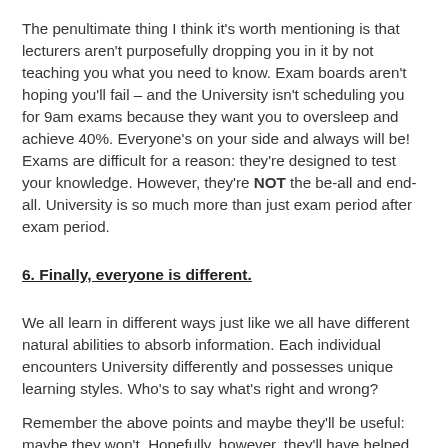The penultimate thing I think it's worth mentioning is that lecturers aren't purposefully dropping you in it by not teaching you what you need to know. Exam boards aren't hoping you'll fail – and the University isn't scheduling you for 9am exams because they want you to oversleep and achieve 40%. Everyone's on your side and always will be! Exams are difficult for a reason: they're designed to test your knowledge. However, they're NOT the be-all and end-all. University is so much more than just exam period after exam period.
6. Finally, everyone is different.
We all learn in different ways just like we all have different natural abilities to absorb information. Each individual encounters University differently and possesses unique learning styles. Who's to say what's right and wrong?
Remember the above points and maybe they'll be useful: maybe they won't. Hopefully, however, they'll have helped you think about your own learning style and encouraged a feeling of confidence within. You can do it!